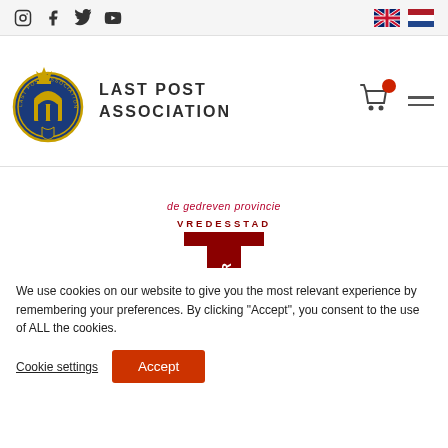Social icons: Instagram, Facebook, Twitter, YouTube | Language flags: UK, NL
[Figure (logo): Last Post Association logo - circular badge with crown and arch gate]
LAST POST ASSOCIATION
[Figure (logo): Vredesstad Ieper logo - dark red I shape with IEPER text and VREDESSTAD label above]
We use cookies on our website to give you the most relevant experience by remembering your preferences. By clicking "Accept", you consent to the use of ALL the cookies.
Cookie settings
Accept